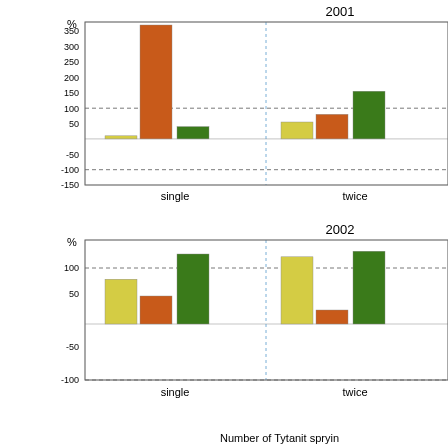[Figure (grouped-bar-chart): 2001]
[Figure (grouped-bar-chart): 2002]
Number of Tytanit spryin